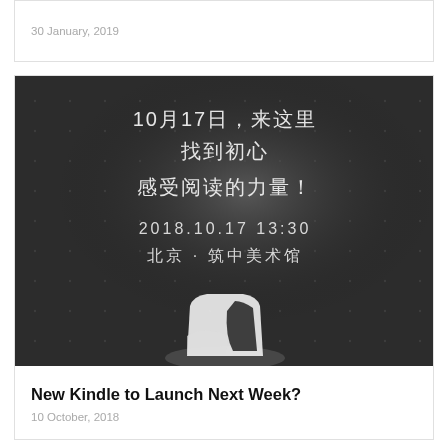30 January, 2019
[Figure (photo): Black and white promotional image with Chinese text reading '10月17日，来这里 找到初心 感受阅读的力量！2018.10.17  13:30 北京·筑中美术馆' and a Kindle device at the bottom]
New Kindle to Launch Next Week?
10 October, 2018